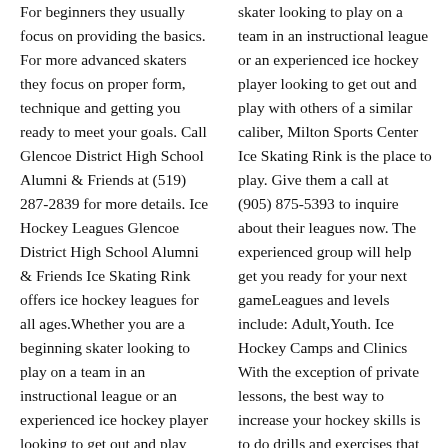For beginners they usually focus on providing the basics. For more advanced skaters they focus on proper form, technique and getting you ready to meet your goals. Call Glencoe District High School Alumni & Friends at (519) 287-2839 for more details. Ice Hockey Leagues Glencoe District High School Alumni & Friends Ice Skating Rink offers ice hockey leagues for all ages.Whether you are a beginning skater looking to play on a team in an instructional league or an experienced ice hockey player looking to get out and play with others of a similar caliber, Glencoe District High School Alumni & Friends Ice Skating Rink is the place to play. Give them a call at (519) 287-2839 to inquire about
skater looking to play on a team in an instructional league or an experienced ice hockey player looking to get out and play with others of a similar caliber, Milton Sports Center Ice Skating Rink is the place to play. Give them a call at (905) 875-5393 to inquire about their leagues now. The experienced group will help get you ready for your next gameLeagues and levels include: Adult,Youth. Ice Hockey Camps and Clinics With the exception of private lessons, the best way to increase your hockey skills is to do drills and exercises that build on the fundamentals. Even better is to do those drills while supervised by someone who understands how to do things